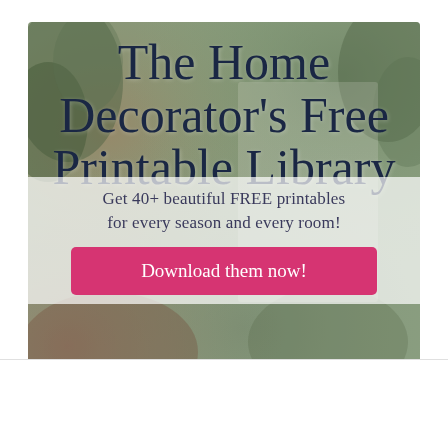[Figure (infographic): Promotional banner with blurred home decor background (plants, warm tones). Contains large title text, subtitle text, and a pink download button.]
The Home Decorator's Free Printable Library
Get 40+ beautiful FREE printables for every season and every room!
Download them now!